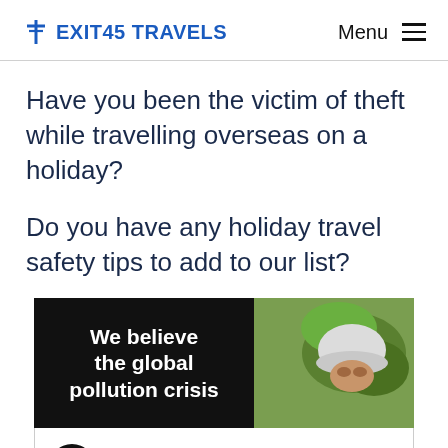Exit45 Travels  Menu
Have you been the victim of theft while travelling overseas on a holiday?
Do you have any holiday travel safety tips to add to our list?
[Figure (photo): Advertisement banner split into a black section with white bold text reading 'We believe the global pollution crisis' and a photo section showing a person wearing a white helmet partially obscured by green leaves.]
[Figure (infographic): Advertisement for 'Visit Premium Outlets® Leesburg Premium Outlets' with circular logo, text, and a blue diamond navigation arrow icon. Below are two small ad disclosure icons (play triangle and X).]